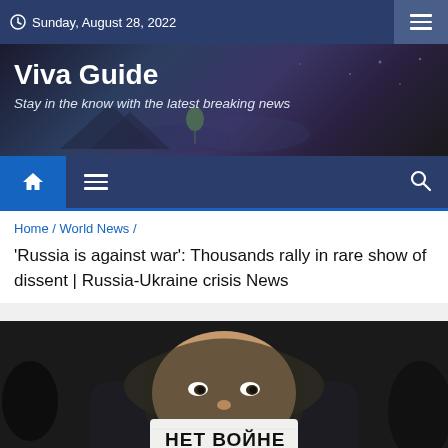Sunday, August 28, 2022
Viva Guide
Stay in the know with the latest breaking news
Home / World News /
'Russia is against war': Thousands rally in rare show of dissent | Russia-Ukraine crisis News
[Figure (photo): Close-up photo of a young person wearing a dark jacket and hoodie, holding a white sign/mask over their mouth with Cyrillic text reading 'НЕТ ВОЙНЕ' (No to War)]